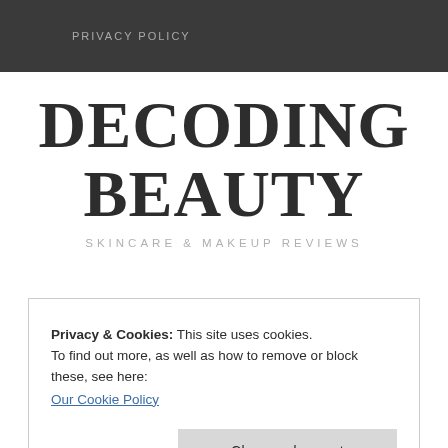PRIVACY POLICY
DECODING BEAUTY
SKINCARE & MAKEUP REVIEWS
Privacy & Cookies: This site uses cookies.
To find out more, as well as how to remove or block these, see here:
Our Cookie Policy
Close and accept